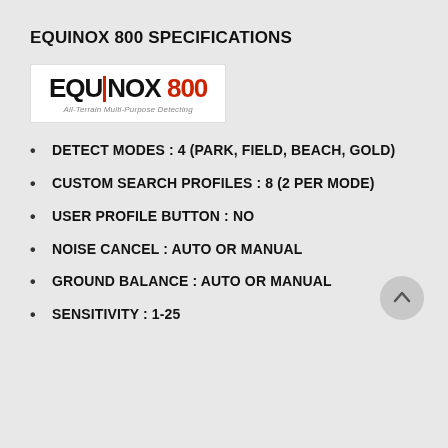EQUINOX 800 SPECIFICATIONS
[Figure (logo): EQUINOX 800 logo with red vertical bar between EQU and NOX, '800' in red, subtitle 'All-Terrain Multi-Purpose Detecting']
DETECT MODES : 4 (PARK, FIELD, BEACH, GOLD)
CUSTOM SEARCH PROFILES : 8 (2 PER MODE)
USER PROFILE BUTTON : NO
NOISE CANCEL : AUTO OR MANUAL
GROUND BALANCE : AUTO OR MANUAL
SENSITIVITY : 1-25